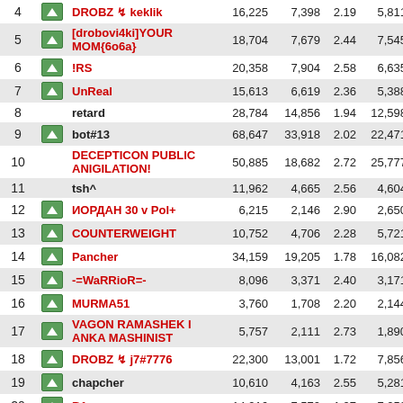| # |  | Name | Col1 | Col2 | Col3 | Col4 |
| --- | --- | --- | --- | --- | --- | --- |
| 4 | ^ | DROBZ ↯ keklik | 16,225 | 7,398 | 2.19 | 5,811 |
| 5 | ^ | [drobovi4ki]YOUR MOM{6o6a} | 18,704 | 7,679 | 2.44 | 7,545 |
| 6 | ^ | !RS | 20,358 | 7,904 | 2.58 | 6,635 |
| 7 | ^ | UnReal | 15,613 | 6,619 | 2.36 | 5,388 |
| 8 |  | retard | 28,784 | 14,856 | 1.94 | 12,598 |
| 9 | ^ | bot#13 | 68,647 | 33,918 | 2.02 | 22,471 |
| 10 |  | DECEPTICON PUBLIC ANIGILATION! | 50,885 | 18,682 | 2.72 | 25,777 |
| 11 |  | tsh^ | 11,962 | 4,665 | 2.56 | 4,604 |
| 12 | ^ | ИОРДАН 30 v Pol+ | 6,215 | 2,146 | 2.90 | 2,650 |
| 13 | ^ | COUNTERWEIGHT | 10,752 | 4,706 | 2.28 | 5,721 |
| 14 | ^ | Pancher | 34,159 | 19,205 | 1.78 | 16,082 |
| 15 | ^ | -=WaRRioR=- | 8,096 | 3,371 | 2.40 | 3,171 |
| 16 | ^ | MURMA51 | 3,760 | 1,708 | 2.20 | 2,144 |
| 17 | ^ | VAGON RAMASHEK I ANKA MASHINIST | 5,757 | 2,111 | 2.73 | 1,890 |
| 18 | ^ | DROBZ ↯ j7#7776 | 22,300 | 13,001 | 1.72 | 7,856 |
| 19 | ^ | chapcher | 10,610 | 4,163 | 2.55 | 5,281 |
| 20 | ^ | B1zon | 14,916 | 7,570 | 1.97 | 7,250 |
| 21 |  | HOLYGUACAMOLE! | 21,029 | 10,577 | 1.99 | 10,397 |
| 22 | ^ | Милка шоколад | 10,131 | 6,361 | 1.59 | 5,040 |
| 23 | ^ | -Wicked_Sick | 7,143 | 3,209 | 2.23 | 3,271 |